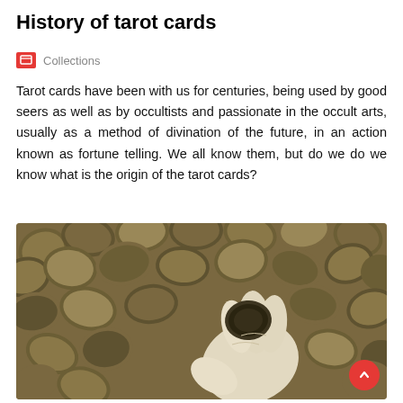History of tarot cards
Collections
Tarot cards have been with us for centuries, being used by good seers as well as by occultists and passionate in the occult arts, usually as a method of divination of the future, in an action known as fortune telling. We all know them, but do we do we know what is the origin of the tarot cards?
[Figure (photo): A hand wearing a white glove holds a single ancient coin above a large pile of old, greenish-brown corroded coins spread across a surface.]